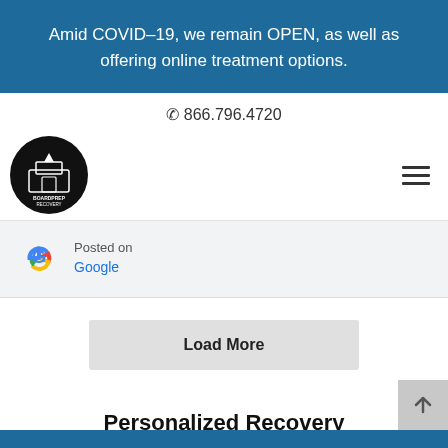Amid COVID–19, we remain OPEN, as well as offering online treatment options.
866.796.4720
[Figure (logo): BoardPrep Recovery circular logo with building illustration on black background]
[Figure (logo): Google G logo multicolor]
Posted on
Google
Load More
Personalized Recovery